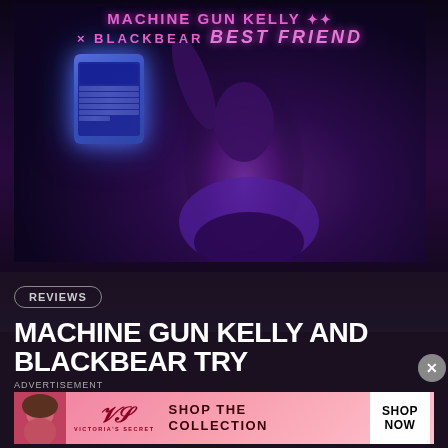[Figure (photo): Album art/music video thumbnail for Machine Gun Kelly x Blackbear 'Best Friend' - dark purple/blue lit scene showing a woman from behind holding a phone, with pink graffiti-style text title overlay]
REVIEWS
MACHINE GUN KELLY AND BLACKBEAR TRY
ADVERTISEMENT
[Figure (photo): Victoria's Secret advertisement banner - pink background with model, VS logo, 'SHOP THE COLLECTION' text, and 'SHOP NOW' white button]